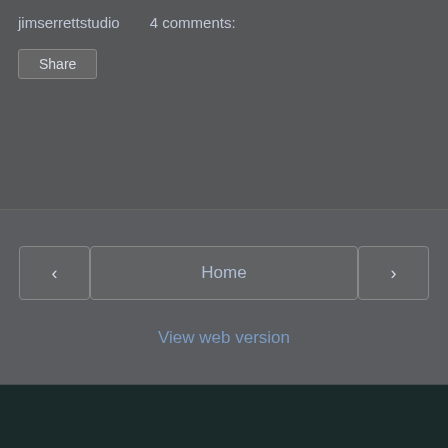jimserrettstudio    4 comments:
Share
<
Home
>
View web version
[Figure (screenshot): Dark teal/dark background area at bottom of page]